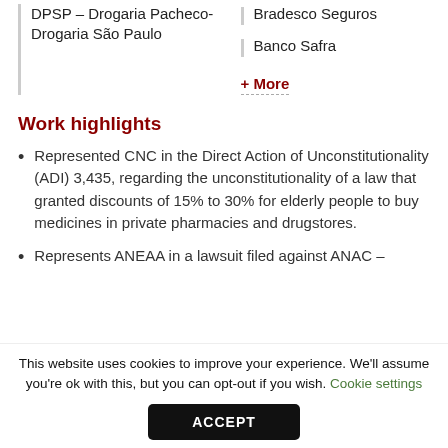DPSP – Drogaria Pacheco-Drogaria São Paulo
Bradesco Seguros
Banco Safra
+ More
Work highlights
Represented CNC in the Direct Action of Unconstitutionality (ADI) 3,435, regarding the unconstitutionality of a law that granted discounts of 15% to 30% for elderly people to buy medicines in private pharmacies and drugstores.
Represents ANEAA in a lawsuit filed against ANAC –
This website uses cookies to improve your experience. We'll assume you're ok with this, but you can opt-out if you wish. Cookie settings
ACCEPT